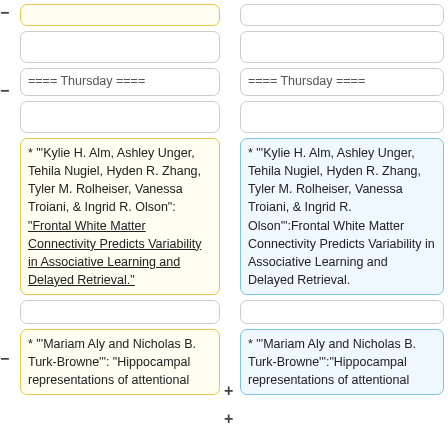==== Thursday ====
==== Thursday ====
* "'Kylie H. Alm, Ashley Unger, Tehila Nugiel, Hyden R. Zhang, Tyler M. Rolheiser, Vanessa Troiani, & Ingrid R. Olson'": "Frontal White Matter Connectivity Predicts Variability in Associative Learning and Delayed Retrieval."
* "'Kylie H. Alm, Ashley Unger, Tehila Nugiel, Hyden R. Zhang, Tyler M. Rolheiser, Vanessa Troiani, & Ingrid R. Olson'":Frontal White Matter Connectivity Predicts Variability in Associative Learning and Delayed Retrieval.
* "'Mariam Aly and Nicholas B. Turk-Browne'": "Hippocampal representations of attentional
* "'Mariam Aly and Nicholas B. Turk-Browne'":"Hippocampal representations of attentional